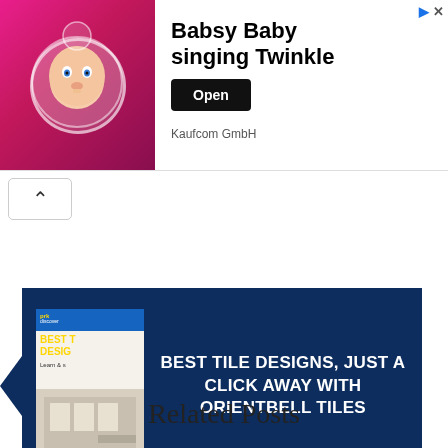[Figure (infographic): Advertisement banner: animated baby character on pink background, text 'Babsy Baby singing Twinkle', Open button, Kaufcom GmbH]
[Figure (infographic): Navigation card 1 with left arrow: thumbnail of Best Tile Designs book, text 'BEST TILE DESIGNS, JUST A CLICK AWAY WITH ORIENTBELL TILES' on dark navy background]
[Figure (infographic): Navigation card 2 with right arrow: text 'BRACING FOR VERNACULAR FINISHES WITH TRACES OF MODERN DESIGN | DESIGN INC.' on dark navy background, thumbnail of a red building]
Related Posts